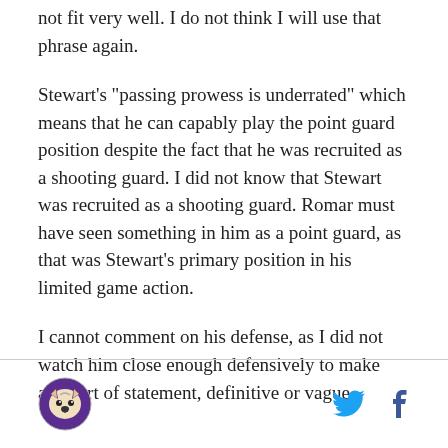not fit very well. I do not think I will use that phrase again.
Stewart's "passing prowess is underrated" which means that he can capably play the point guard position despite the fact that he was recruited as a shooting guard. I did not know that Stewart was recruited as a shooting guard. Romar must have seen something in him as a point guard, as that was Stewart's primary position in his limited game action.
I cannot comment on his defense, as I did not watch him close enough defensively to make any sort of statement, definitive or vague.
[logo and social icons]